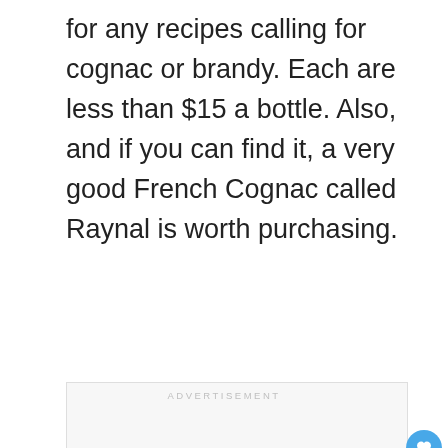for any recipes calling for cognac or brandy. Each are less than $15 a bottle. Also, and if you can find it, a very good French Cognac called Raynal is worth purchasing.
[Figure (other): Advertisement placeholder box with the label ADVERTISEMENT in gray text, along with UI elements: a blue heart button, a share button, a 'What's Next' panel showing Chicken In A Brandy Peca..., and a No Kid Hungry orange ad banner at the bottom.]